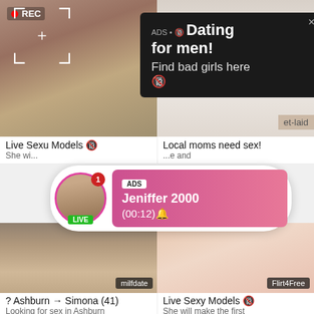[Figure (screenshot): Top-left tile: selfie photo with REC badge and focus bracket overlay, ad popup overlay showing 'ADS • Dating for men! Find bad girls here']
[Figure (screenshot): Top-right tile: outdoor photo with 'et-laid' tag visible]
Live Sexu Models 🔞
She wi...
Local moms need sex!
e and
[Figure (screenshot): Notification popup with avatar (LIVE badge, red badge '1'), pink gradient bubble: ADS Jeniffer 2000 (00:12)🔔]
[Figure (photo): Bottom-left tile: close-up photo, milfdate watermark]
[Figure (photo): Bottom-right tile: close-up photo, Flirt4Free watermark]
? Ashburn → Simona (41)
Looking for sex in Ashburn
Live Sexy Models 🔞
She will make the first